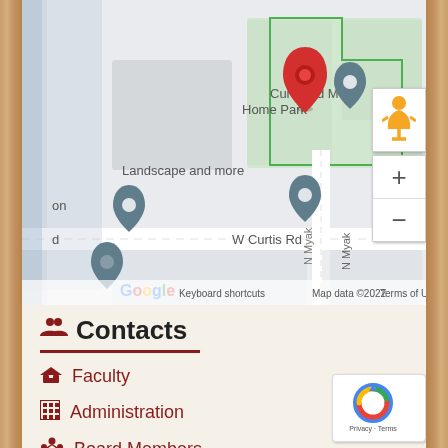[Figure (map): Google Maps screenshot showing Curtis Rd Mobile Home Park area with map pins, street labels including W Curtis Rd, N Myaki, N Pla, Landscape and more label, Mountain View Mobile Home Park label, Google logo, Keyboard shortcuts, Map data ©2022, Terms of Use]
Contacts
Faculty
Administration
Board Members